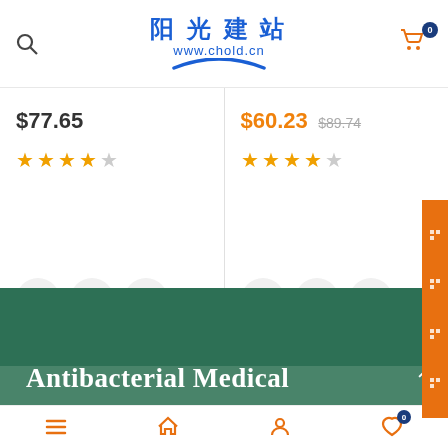阳光建站 www.chold.cn
$77.65
$60.23 $89.74
Antibacterial Medical
0